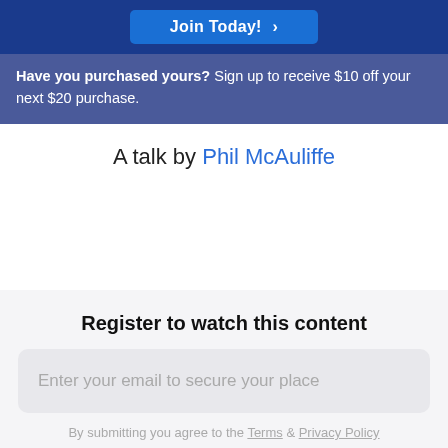Join Today! >
Have you purchased yours? Sign up to receive $10 off your next $20 purchase.
A talk by Phil McAuliffe
Register to watch this content
Enter your email to secure your place
By submitting you agree to the Terms & Privacy Policy